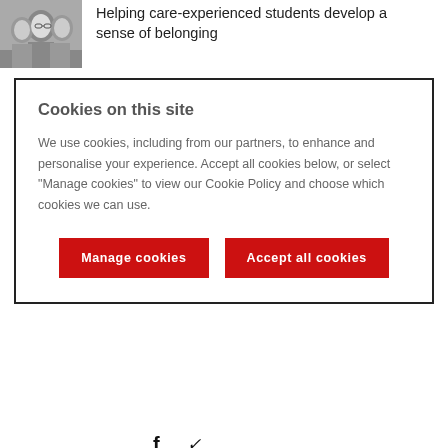[Figure (photo): Grayscale photo of smiling students]
Helping care-experienced students develop a sense of belonging
Cookies on this site
We use cookies, including from our partners, to enhance and personalise your experience. Accept all cookies below, or select “Manage cookies” to view our Cookie Policy and choose which cookies we can use.
Manage cookies
Accept all cookies
[Figure (illustration): Social media icons: Facebook f and Twitter bird]
Your email address will not be published.
Comment